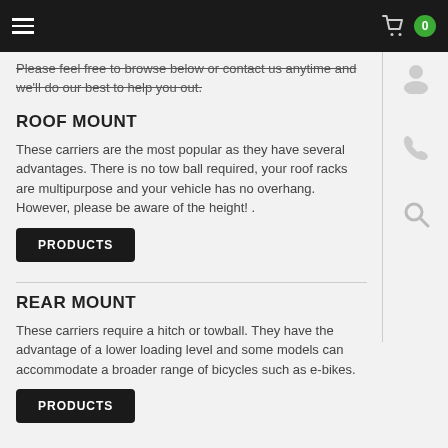Navigation bar with hamburger menu, cart icon, and cart count 0
Please feel free to browse below or contact us anytime and we'll do our best to help you out.
ROOF MOUNT
These carriers are the most popular as they have several advantages. There is no tow ball required, your roof racks are multipurpose and your vehicle has no overhang. However, please be aware of the height! .
PRODUCTS
REAR MOUNT
These carriers require a hitch or towball. They have the advantage of a lower loading level and some models can accommodate a broader range of bicycles such as e-bikes.
PRODUCTS